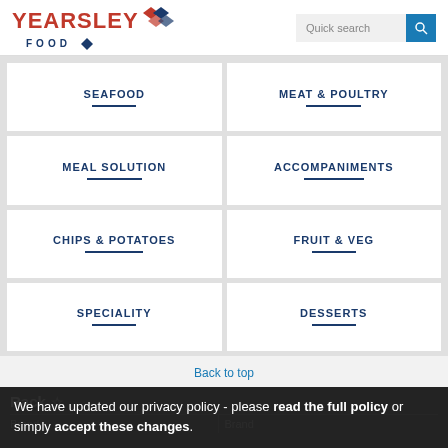[Figure (logo): Yearsley Food logo with red text and blue diamond shapes]
[Figure (screenshot): Quick search input field with blue search button]
SEAFOOD
MEAT & POULTRY
MEAL SOLUTION
ACCOMPANIMENTS
CHIPS & POTATOES
FRUIT & VEG
SPECIALITY
DESSERTS
Back to top
Rack
Brand
Brand
We have updated our privacy policy - please read the full policy or simply accept these changes.